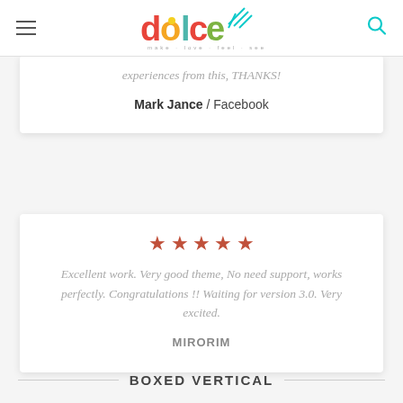dolce
experiences from this, THANKS!
Mark Jance / Facebook
[Figure (other): Five orange/red star rating icons]
Excellent work. Very good theme, No need support, works perfectly. Congratulations !! Waiting for version 3.0. Very excited.
MIRORIM
BOXED VERTICAL